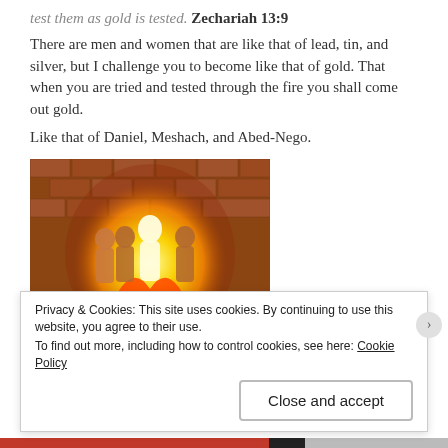test them as gold is tested. Zechariah 13:9
There are men and women that are like that of lead, tin, and silver, but I challenge you to become like that of gold. That when you are tried and tested through the fire you shall come out gold.
Like that of Daniel, Meshach, and Abed-Nego.
[Figure (illustration): Painting of three figures standing in fire with a glowing figure among them, depicting the biblical story of Shadrach, Meshach, and Abednego in the fiery furnace.]
Privacy & Cookies: This site uses cookies. By continuing to use this website, you agree to their use.
To find out more, including how to control cookies, see here: Cookie Policy
Close and accept